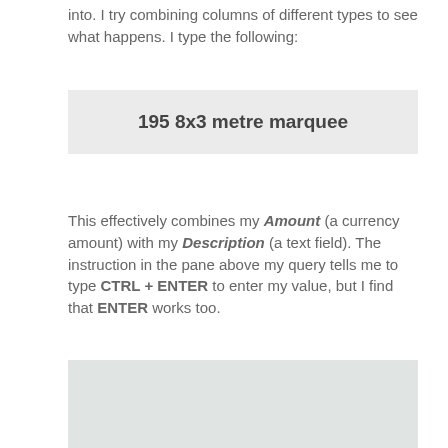into.  I try combining columns of different types to see what happens.  I type the following:
195 8x3 metre marquee
This effectively combines my Amount (a currency amount) with my Description (a text field).  The instruction in the pane above my query tells me to type CTRL + ENTER to enter my value, but I find that ENTER works too.
[Figure (screenshot): A screenshot showing a database query interface or spreadsheet, partially visible at the bottom of the page.]